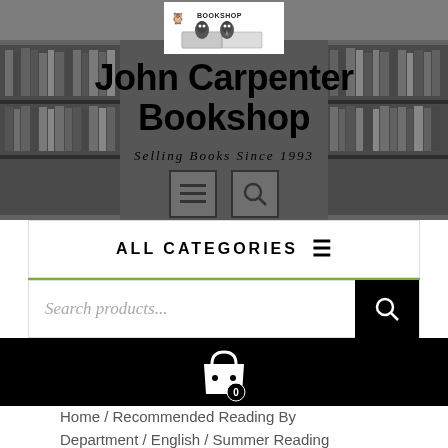[Figure (screenshot): Hero section with bookshop background, logo, title 'John Carpenter Bookshop', subtitle 'Selling Books Since 1993', and navigation icons]
John Carpenter Bookshop
Selling Books Since 1993
ALL CATEGORIES  ≡
Search products...
0
Home / Recommended Reading By Department / English / Summer Reading